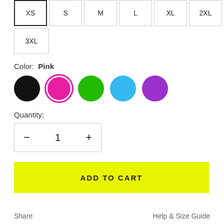XS (selected), S, M, L, XL, 2XL
3XL
Color:  Pink
[Figure (infographic): Five color swatches: black circle, pink circle (selected with ring), green circle, blue circle, purple circle]
Quantity:
[Figure (infographic): Quantity stepper box with minus button, value 1, plus button]
ADD TO CART
Share    Help & Size Guide